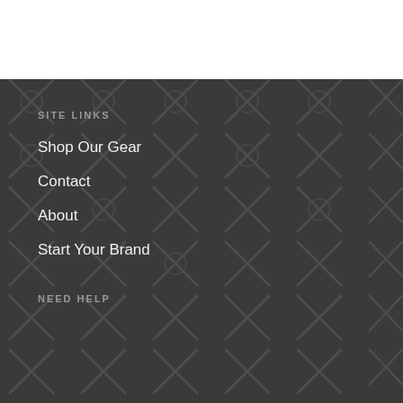SITE LINKS
Shop Our Gear
Contact
About
Start Your Brand
NEED HELP